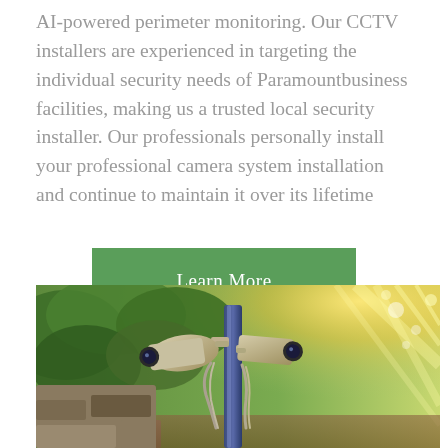AI-powered perimeter monitoring. Our CCTV installers are experienced in targeting the individual security needs of Paramountbusiness facilities, making us a trusted local security installer. Our professionals personally install your professional camera system installation and continue to maintain it over its lifetime
Learn More
[Figure (photo): Two CCTV security cameras mounted on a blue pole with green foliage and sunlight rays in the background]